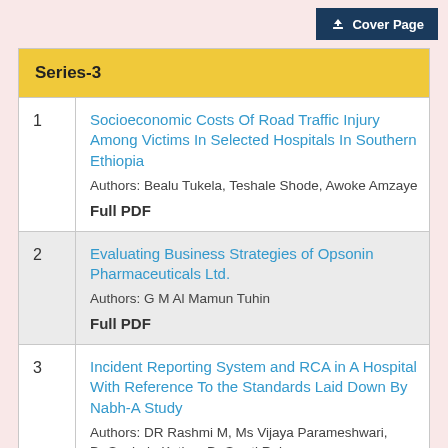Cover Page
Series-3
1 Socioeconomic Costs Of Road Traffic Injury Among Victims In Selected Hospitals In Southern Ethiopia
Authors: Bealu Tukela, Teshale Shode, Awoke Amzaye
Full PDF
2 Evaluating Business Strategies of Opsonin Pharmaceuticals Ltd.
Authors: G M Al Mamun Tuhin
Full PDF
3 Incident Reporting System and RCA in A Hospital With Reference To the Standards Laid Down By Nabh-A Study
Authors: DR Rashmi M, Ms Vijaya Parameshwari, Dr Suphala Kotian, Dr Swati Raj